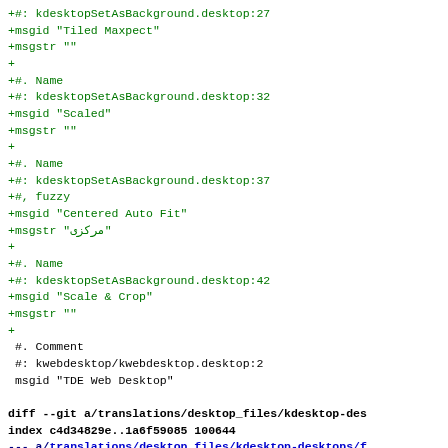+#: kdesktopSetAsBackground.desktop:27
+msgid "Tiled Maxpect"
+msgstr ""
+
+#. Name
+#: kdesktopSetAsBackground.desktop:32
+msgid "Scaled"
+msgstr ""
+
+#. Name
+#: kdesktopSetAsBackground.desktop:37
+#, fuzzy
+msgid "Centered Auto Fit"
+msgstr "مرکزی"
+
+#. Name
+#: kdesktopSetAsBackground.desktop:42
+msgid "Scale & Crop"
+msgstr ""
+
 #. Comment
 #: kwebdesktop/kwebdesktop.desktop:2
 msgid "TDE Web Desktop"

diff --git a/translations/desktop_files/kdesktop-des
index c4d34829e..1a6f59085 100644
--- a/translations/desktop_files/kdesktop-desktops/f
+++ b/translations/desktop_files/kdesktop-desktops/f
@@ -7,7 +7,7 @@ msgid ""
 msgstr ""